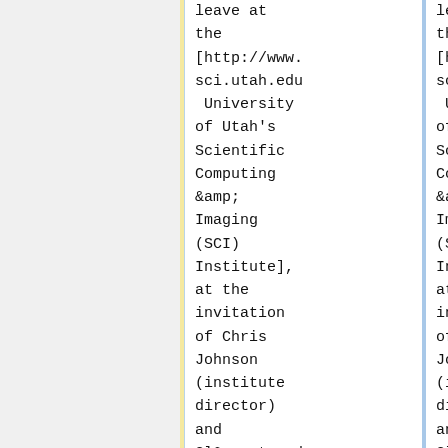leave at the [http://www.sci.utah.edu University of Utah's Scientific Computing &amp; Imaging (SCI) Institute], at the invitation of Chris Johnson (institute director) and Cl&aacute;udio T. Silva (computer
leave at the [http://www.sci.utah.edu University of Utah's Scientific Computing &amp; Imaging (SCI) Institute], at the invitation of Chris Johnson (institute director) and Cl&aacute;udio T. Silva (computer